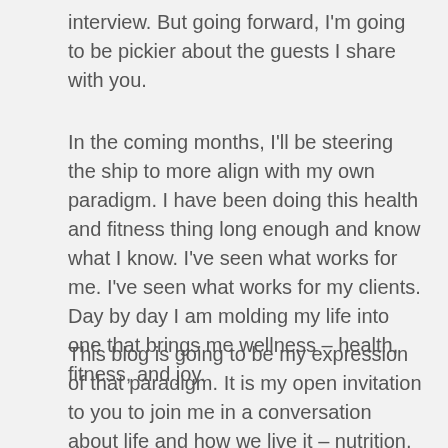interview. But going forward, I'm going to be pickier about the guests I share with you.
In the coming months, I'll be steering the ship to more align with my own paradigm. I have been doing this health and fitness thing long enough and know what I know. I've seen what works for me. I've seen what works for my clients. Day by day I am molding my life into one that brings me wellness – health, fitness, and joy.
This blog is going to be my expression of that paradigm. It is my open invitation to you to join me in a conversation about life and how we live it – nutrition, movement,